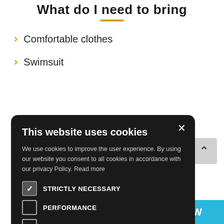What do I need to bring
Comfortable clothes
Swimsuit
[Figure (screenshot): Cookie consent modal dialog on a dark background with title 'This website uses cookies', body text, four checkboxes (STRICTLY NECESSARY checked, PERFORMANCE, TARGETING, UNCLASSIFIED unchecked), and two buttons: I AGREE (green) and I DISAGREE (red/pink)]